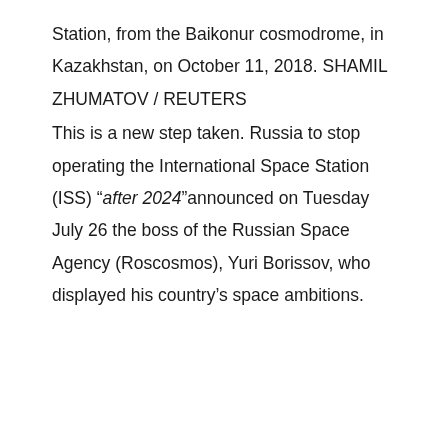Station, from the Baikonur cosmodrome, in Kazakhstan, on October 11, 2018. SHAMIL ZHUMATOV / REUTERS
This is a new step taken. Russia to stop operating the International Space Station (ISS) “after 2024”announced on Tuesday July 26 the boss of the Russian Space Agency (Roscosmos), Yuri Borissov, who displayed his country’s space ambitions.